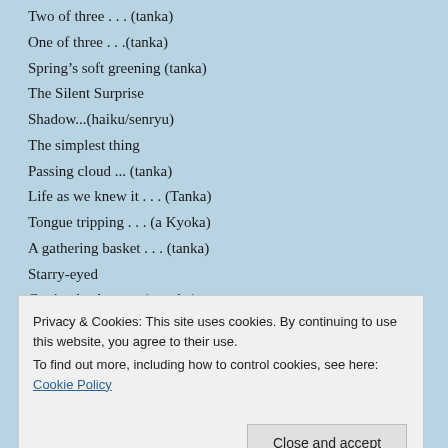Two of three . . . (tanka)
One of three . . .(tanka)
Spring's soft greening (tanka)
The Silent Surprise
Shadow...(haiku/senryu)
The simplest thing
Passing cloud ... (tanka)
Life as we knew it . . . (Tanka)
Tongue tripping . . . (a Kyoka)
A gathering basket . . . (tanka)
Starry-eyed
Cutting back roses (a tanka)
A nagging thought . . . (haiku)
Privacy & Cookies: This site uses cookies. By continuing to use this website, you agree to their use. To find out more, including how to control cookies, see here: Cookie Policy
Winter nights (haiku)